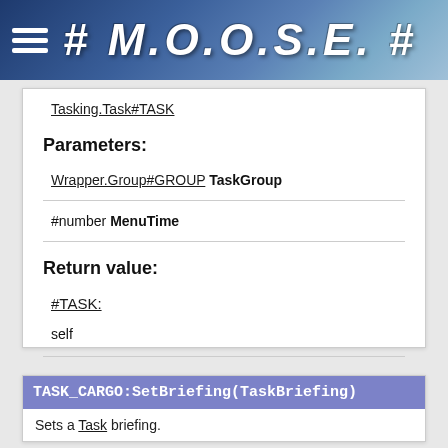# M.O.O.S.E. #
Tasking.Task#TASK
Parameters:
Wrapper.Group#GROUP TaskGroup
#number MenuTime
Return value:
#TASK:
self
TASK_CARGO:SetBriefing(TaskBriefing)
Sets a Task briefing.